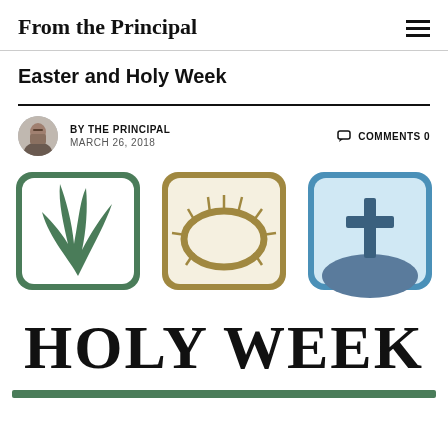From the Principal
Easter and Holy Week
BY THE PRINCIPAL   MARCH 26, 2018   COMMENTS 0
[Figure (illustration): Holy Week graphic with three icons: a green rounded square with a palm frond, a gold/olive rounded square with a crown of thorns, and a blue rounded square with a cross on a hill, with large text HOLY WEEK below, and a green bar underneath.]